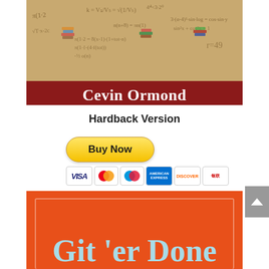[Figure (photo): Book cover showing 'Cevin Ormond' on a dark red band with math equations background. Foreword by Peggy McColl, New York Times Best-Selling Author.]
Hardback Version
[Figure (other): PayPal 'Buy Now' button with payment icons: VISA, Mastercard, Maestro, American Express, Discover, UnionPay]
[Figure (photo): Bottom portion of book cover 'Git 'er Done NOW' with orange-red background]